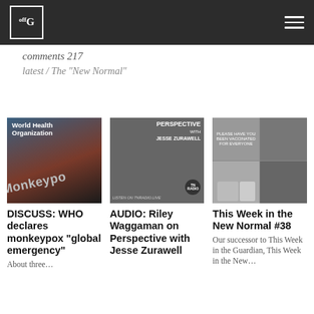offG (logo) — navigation header
comments 217
latest / The "New Normal"
[Figure (photo): Image of a smartphone showing 'Monkeypox' text with World Health Organization branding]
DISCUSS: WHO declares monkeypox "global emergency"
About three…
[Figure (photo): Podcast cover art for 'Perspective with Jesse Zurawell' on TNRadio, LISTEN ON TNRADIO.LIVE]
AUDIO: Riley Waggaman on Perspective with Jesse Zurawell
[Figure (photo): Collage of images related to vaccines, vaccine passports, and 'Please Have You Been Vaccinated?' sign]
This Week in the New Normal #38
Our successor to This Week in the Guardian, This Week in the New…